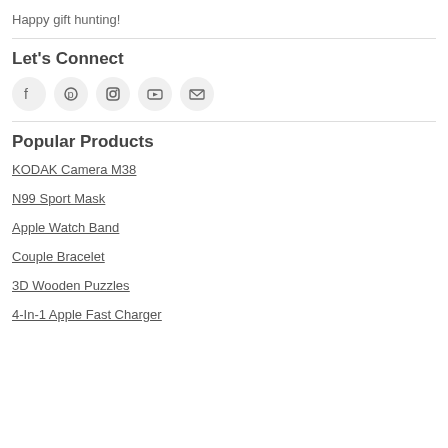Happy gift hunting!
Let's Connect
[Figure (infographic): Five social media icon circles: Facebook, Pinterest, Instagram, YouTube, Email]
Popular Products
KODAK Camera M38
N99 Sport Mask
Apple Watch Band
Couple Bracelet
3D Wooden Puzzles
4-In-1 Apple Fast Charger